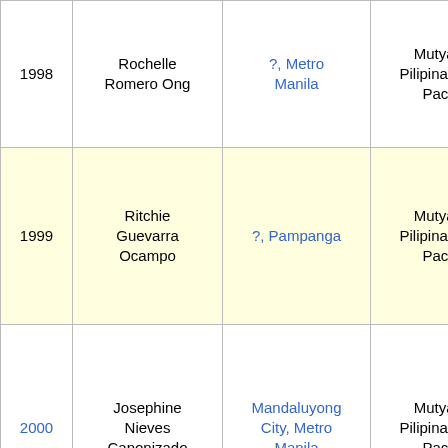| Year | Name | Location | Title | Result |
| --- | --- | --- | --- | --- |
| 1998 | Rochelle Romero Ong | ?, Metro Manila | Mutya ng Pilipinas-Asia Pacific | Unplaced |
| 1999 | Ritchie Guevarra Ocampo | ?, Pampanga | Mutya ng Pilipinas-Asia Pacific | Top 10 Semi-Finalist |
| 2000 | Josephine Nieves Canonizado | Mandaluyong City, Metro Manila | Mutya ng Pilipinas-Asia Pacific | Unplaced |
| 2001 | Darlene Zimmer Carbungco | Angeles City, Pampanga | Mutya ng Pilipinas-Asia Pacific | Fourth Runner up |
| 2002 | Miriam San Jose Chui | Filipino Community in California, United States | Mutya ng Pilipinas-Asia Pacific | Third Runner up |